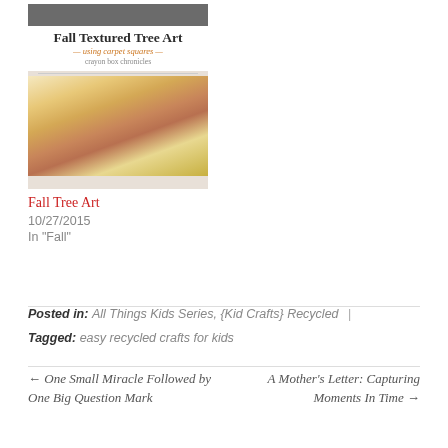[Figure (photo): Blog post thumbnail for 'Fall Textured Tree Art using carpet squares' by crayon box chronicles, showing fall flowers/leaves arrangement on white surface]
Fall Tree Art
10/27/2015
In "Fall"
Posted in: All Things Kids Series, {Kid Crafts} Recycled  |
Tagged: easy recycled crafts for kids
← One Small Miracle Followed by One Big Question Mark
A Mother's Letter: Capturing Moments In Time →